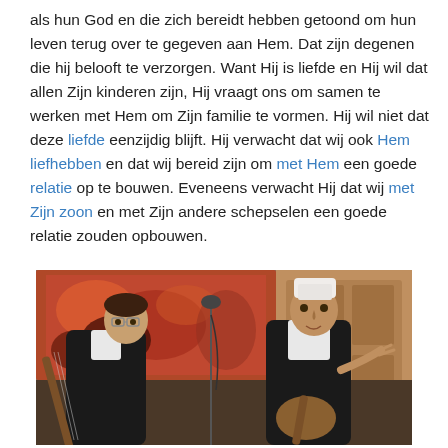als hun God en die zich bereidt hebben getoond om hun leven terug over te gegeven aan Hem. Dat zijn degenen die hij belooft te verzorgen. Want Hij is liefde en Hij wil dat allen Zijn kinderen zijn, Hij vraagt ons om samen te werken met Hem om Zijn familie te vormen. Hij wil niet dat deze liefde eenzijdig blijft. Hij verwacht dat wij ook Hem liefhebben en dat wij bereid zijn om met Hem een goede relatie op te bouwen. Eveneens verwacht Hij dat wij met Zijn zoon en met Zijn andere schepselen een goede relatie zouden opbouwen.
[Figure (photo): Two men playing traditional instruments. The man on the left wears glasses and a dark vest over a white shirt. The man on the right wears a white traditional hat and dark vest over a white shirt, pointing or gesturing. A colorful painting is visible in the background.]